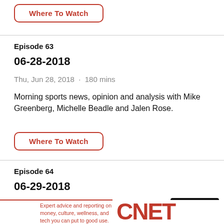Where To Watch
Episode 63
06-28-2018
Thu, Jun 28, 2018 · 180 mins
Morning sports news, opinion and analysis with Mike Greenberg, Michelle Beadle and Jalen Rose.
Where To Watch
Episode 64
06-29-2018
Fri, Jun 29, 2018 · 180 mins
Close Ad
Mornin Greent
Expert advice and reporting on money, culture, wellness, and tech you can put to good use.
CNET